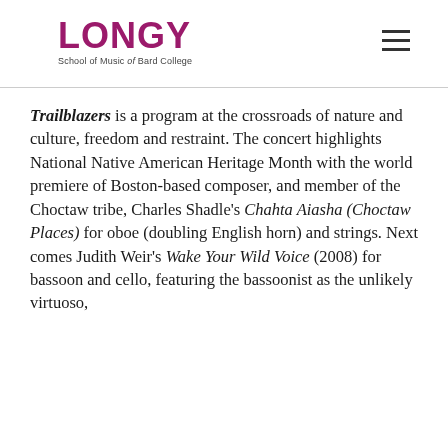LONGY School of Music of Bard College
Trailblazers is a program at the crossroads of nature and culture, freedom and restraint. The concert highlights National Native American Heritage Month with the world premiere of Boston-based composer, and member of the Choctaw tribe, Charles Shadle's Chahta Aiasha (Choctaw Places) for oboe (doubling English horn) and strings. Next comes Judith Weir's Wake Your Wild Voice (2008) for bassoon and cello, featuring the bassoonist as the unlikely virtuoso,